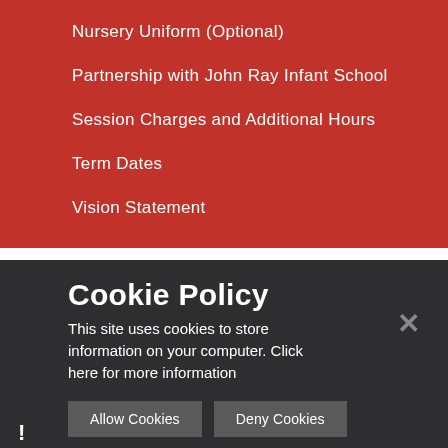Nursery Uniform (Optional)
Partnership with John Ray Infant School
Session Charges and Additional Hours
Term Dates
Vision Statement
Cookie Policy
This site uses cookies to store information on your computer. Click here for more information
Allow Cookies   Deny Cookies